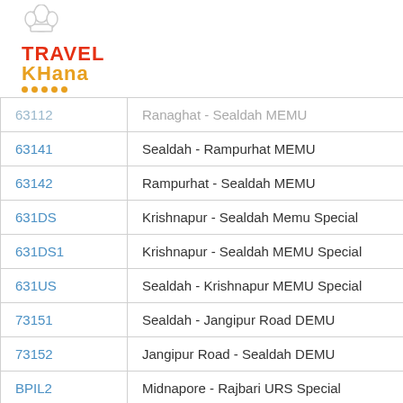[Figure (logo): Travel Khana logo with chef hat icon, red TRAVEL text, orange KHANA text, orange dots underline]
| Code | Train Name |
| --- | --- |
| 63112 | Ranaghat - Sealdah MEMU |
| 63141 | Sealdah - Rampurhat MEMU |
| 63142 | Rampurhat - Sealdah MEMU |
| 631DS | Krishnapur - Sealdah Memu Special |
| 631DS1 | Krishnapur - Sealdah MEMU Special |
| 631US | Sealdah - Krishnapur MEMU Special |
| 73151 | Sealdah - Jangipur Road DEMU |
| 73152 | Jangipur Road - Sealdah DEMU |
| BPIL2 | Midnapore - Rajbari URS Special |
| SN-Spl2 | Sealdah - Ranaghat Special |